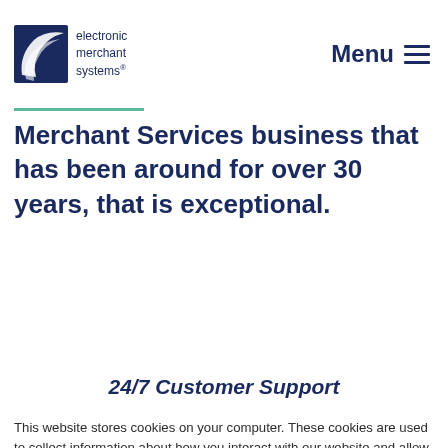[Figure (logo): Electronic Merchant Systems logo — dark navy shield/curve shape with white swoosh, text: electronic merchant systems with registered trademark]
Menu ≡
Merchant Services business that has been around for over 30 years, that is exceptional.
24/7 Customer Support
This website stores cookies on your computer. These cookies are used to collect information about how you interact with our website and allow us to remember you. We use this information in order to improve and customize your browsing experience and for analytics and metrics about our visitors both on this website and other media. To find out more about the cookies we use, see our Privacy Policy.
If you decline, your information won't be tracked when you visit this website. A single cookie will be used in your browser to remember your preference not to be tracked.
Accept
Decline